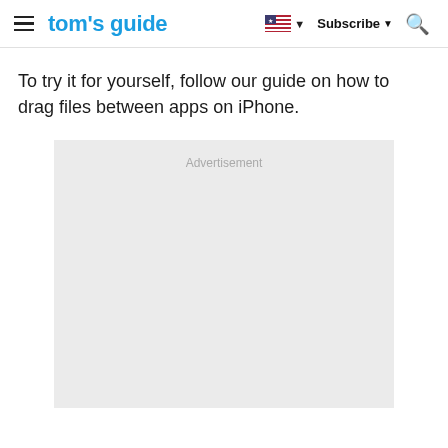tom's guide | Subscribe | Search
To try it for yourself, follow our guide on how to drag files between apps on iPhone.
[Figure (other): Advertisement placeholder box with gray background and 'Advertisement' label at top center]